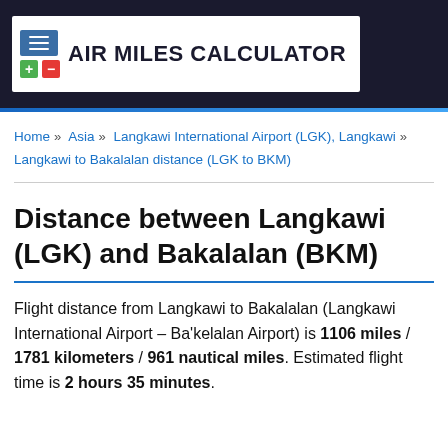AIR MILES CALCULATOR
Home » Asia » Langkawi International Airport (LGK), Langkawi » Langkawi to Bakalalan distance (LGK to BKM)
Distance between Langkawi (LGK) and Bakalalan (BKM)
Flight distance from Langkawi to Bakalalan (Langkawi International Airport – Ba'kelalan Airport) is 1106 miles / 1781 kilometers / 961 nautical miles. Estimated flight time is 2 hours 35 minutes.